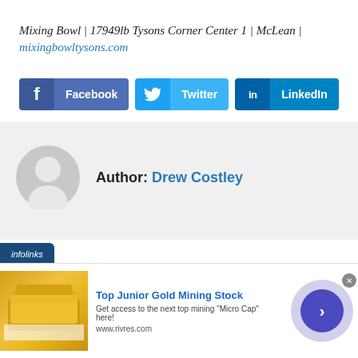Mixing Bowl | 17949lb Tysons Corner Center 1 | McLean | mixingbowltysons.com
[Figure (infographic): Social share buttons: Facebook, Twitter, LinkedIn]
[Figure (infographic): Author avatar placeholder (gray silhouette) with label: Author: Drew Costley]
[Figure (infographic): Infolinks advertisement banner: Top Junior Gold Mining Stock. Get access to the next top mining 'Micro Cap' here! www.rivres.com]